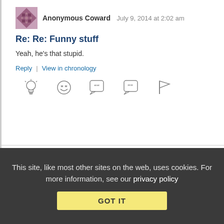[Figure (illustration): Anonymous Coward avatar — purple/mauve geometric diamond-pattern icon]
Anonymous Coward   July 9, 2014 at 2:02 am
Re: Re: Funny stuff
Yeah, he's that stupid.
Reply | View in chronology
[Figure (illustration): Row of action icons: lightbulb (insightful), laughing emoji (funny), quote bubble, second quote bubble, flag]
[Figure (illustration): Thread/replies icon with [3] label]
[Figure (illustration): Partially visible circular avatar at bottom]
This site, like most other sites on the web, uses cookies. For more information, see our privacy policy
GOT IT